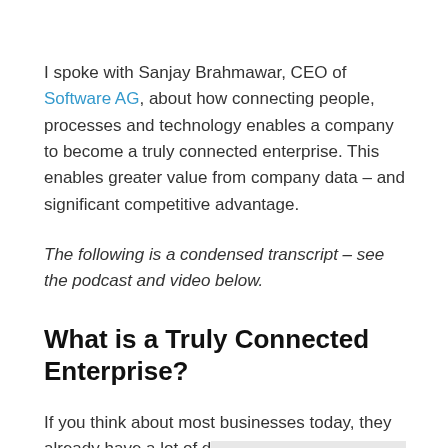I spoke with Sanjay Brahmawar, CEO of Software AG, about how connecting people, processes and technology enables a company to become a truly connected enterprise. This enables greater value from company data – and significant competitive advantage.
The following is a condensed transcript – see the podcast and video below.
What is a Truly Connected Enterprise?
If you think about most businesses today, they already have a lot of [obscured] been in opera[ting] [obscured] is data